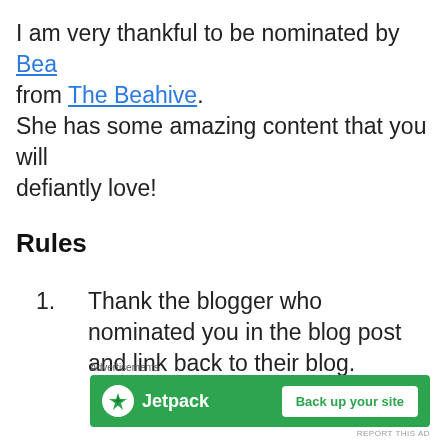I am very thankful to be nominated by Bea from The Beahive. She has some amazing content that you will defiantly love!
Rules
Thank the blogger who nominated you in the blog post and link back to their blog.
[Figure (other): Jetpack advertisement banner with green background, Jetpack logo and lightning bolt icon on left, and 'Back up your site' button on right]